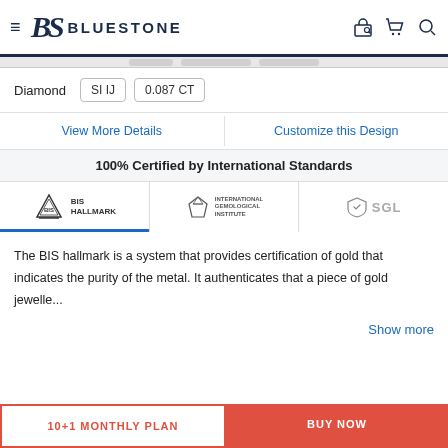BLUESTONE
Diamond  SI IJ  0.087 CT
View More Details  |  Customize this Design
100% Certified by International Standards
[Figure (logo): Three certification logos: BIS Hallmark, International Gemological Institute (IGI), SGL]
The BIS hallmark is a system that provides certification of gold that indicates the purity of the metal. It authenticates that a piece of gold jewelle...
Show more
10+1 MONTHLY PLAN  |  BUY NOW